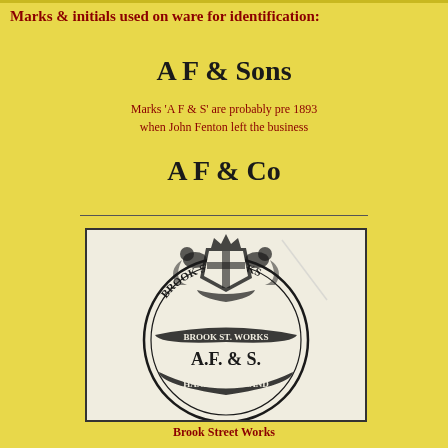Marks & initials used on ware for identification:
A F & Sons
Marks 'A F & S' are probably pre 1893 when John Fenton left the business
A F & Co
[Figure (logo): A circular pottery stamp/mark reading 'Brook St. Works, A.F. & S., Hanley England' with a royal coat of arms crest at the top]
Brook Street Works